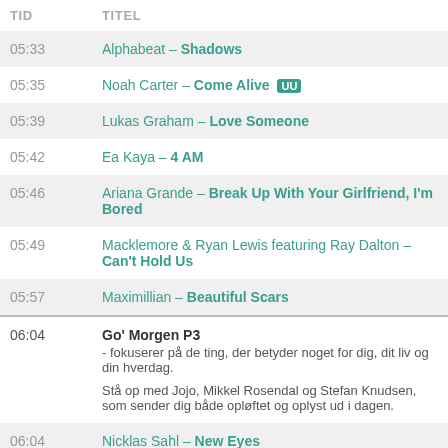| TID | TITEL |
| --- | --- |
| 05:33 | Alphabeat – Shadows |
| 05:35 | Noah Carter – Come Alive [UU] |
| 05:39 | Lukas Graham – Love Someone |
| 05:42 | Ea Kaya – 4 AM |
| 05:46 | Ariana Grande – Break Up With Your Girlfriend, I'm Bored |
| 05:49 | Macklemore & Ryan Lewis featuring Ray Dalton – Can't Hold Us |
| 05:57 | Maximillian – Beautiful Scars |
| 06:04 | Go' Morgen P3 - fokuserer på de ting, der betyder noget for dig, dit liv og din hverdag. Stå op med Jojo, Mikkel Rosendal og Stefan Knudsen, som sender dig både opløftet og oplyst ud i dagen. |
| 06:04 | Nicklas Sahl – New Eyes |
| 06:08 | Sam Smith featuring Normani Hamilton – Dancing With a Stranger |
| 06:15 | Guldrong – Model |